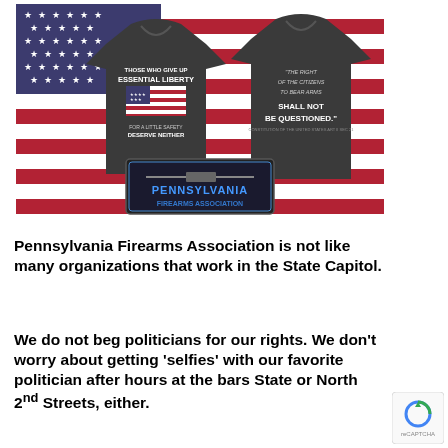[Figure (photo): Photo of two dark/black t-shirts laid on an American flag background. The front shirt shows text 'THOSE WHO GIVE UP ESSENTIAL LIBERTY FOR A LITTLE SAFETY DESERVE NEITHER' with a Betsy Ross-style American flag graphic. The back shirt shows a quote 'THE RIGHT OF THE CITIZENS TO BEAR ARMS SHALL NOT BE QUESTIONED.' A patch/label for 'PENNSYLVANIA FIREARMS ASSOCIATION' with a rifle image is shown in the lower center.]
Pennsylvania Firearms Association is not like many organizations that work in the State Capitol.
We do not beg politicians for our rights. We don't worry about getting 'selfies' with our favorite politician after hours at the bars State or North 2nd Streets, either.